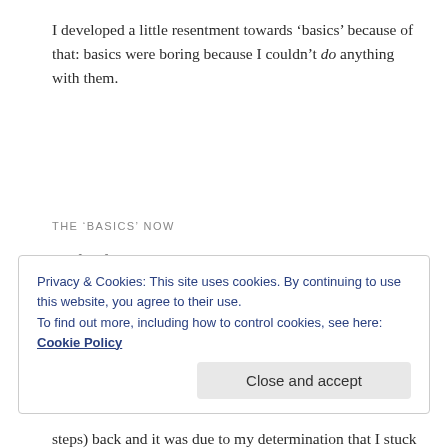I developed a little resentment towards ‘basics’ because of that: basics were boring because I couldn’t do anything with them.
THE ‘BASICS’ NOW
We fast forward twenty years, to the nineties when I started clicker training my pony Sholto. The Internet wasn’t well developed and I couldn’t find anything about horse training on The Net at that time.
[Figure (other): Advertisement banner with blue-to-pink gradient and overlaid link text]
REPORT THIS AD
Privacy & Cookies: This site uses cookies. By continuing to use this website, you agree to their use.
To find out more, including how to control cookies, see here: Cookie Policy
Close and accept
steps) back and it was due to my determination that I stuck